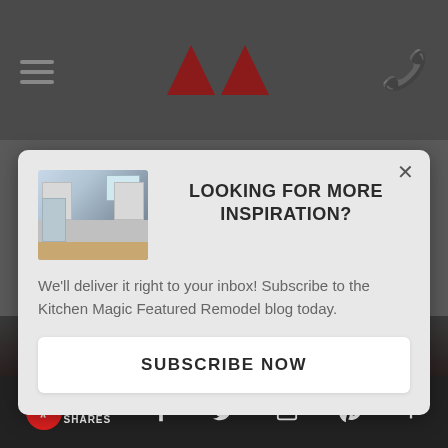[Figure (screenshot): Website header with hamburger menu icon on left, two dark red triangular logo marks in center, and phone icon on right, on dark gray background]
[Figure (screenshot): Modal popup dialog with kitchen photo on left, heading 'LOOKING FOR MORE INSPIRATION?', body text about subscribing to Kitchen Magic Featured Remodel blog, and a white 'SUBSCRIBE NOW' button]
LOOKING FOR MORE INSPIRATION?
We'll deliver it right to your inbox! Subscribe to the Kitchen Magic Featured Remodel blog today.
SUBSCRIBE NOW
0 SHARES